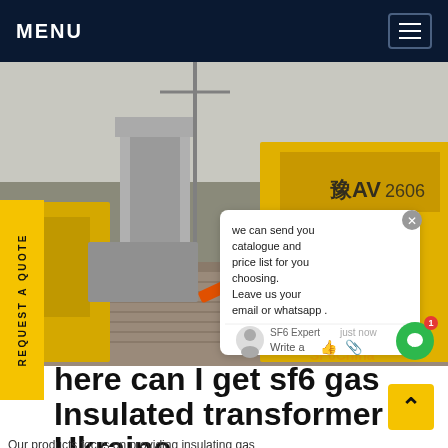MENU
[Figure (photo): Industrial site with yellow utility trucks and electrical transformers, with a chat popup overlay showing 'we can send you catalogue and price list for you choosing. Leave us your email or whatsapp.' and SF6 Expert branding.]
here can I get sf6 gas Insulated transformer Ukraine
Our products focus on providing insulating gas